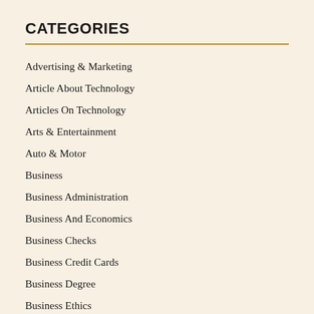CATEGORIES
Advertising & Marketing
Article About Technology
Articles On Technology
Arts & Entertainment
Auto & Motor
Business
Business Administration
Business And Economics
Business Checks
Business Credit Cards
Business Degree
Business Ethics